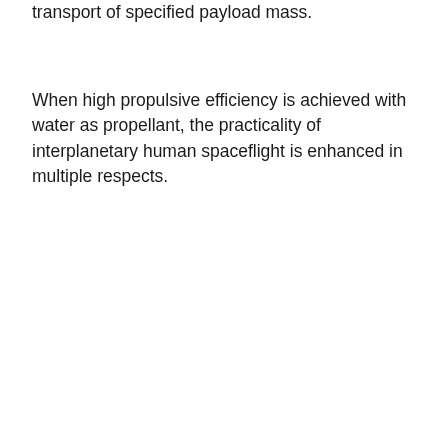transport of specified payload mass.
When high propulsive efficiency is achieved with water as propellant, the practicality of interplanetary human spaceflight is enhanced in multiple respects.